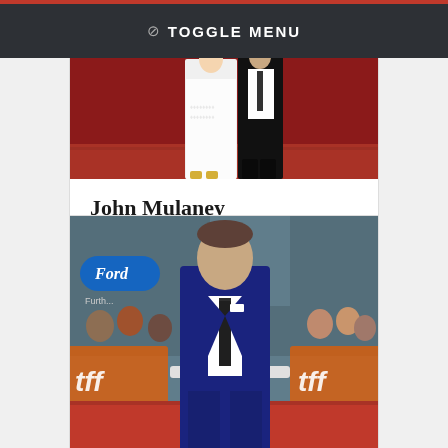⊘ TOGGLE MENU
[Figure (photo): A couple standing on a red carpet, woman in white dress, man in dark suit, lower bodies visible]
John Mulaney
Vote for John Mulaney
[Figure (photo): A man in a navy suit standing on a red carpet at TIFF, crowd behind him, Ford logo banner, tif branding visible]